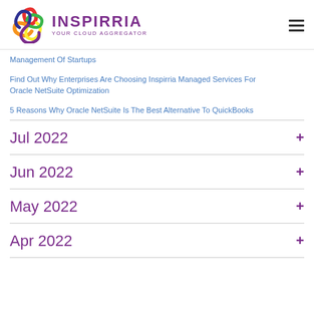INSPIRRIA YOUR CLOUD AGGREGATOR
Management Of Startups
Find Out Why Enterprises Are Choosing Inspirria Managed Services For Oracle NetSuite Optimization
5 Reasons Why Oracle NetSuite Is The Best Alternative To QuickBooks
Jul 2022
Jun 2022
May 2022
Apr 2022